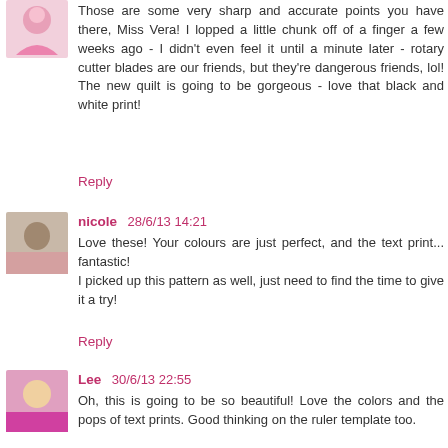Those are some very sharp and accurate points you have there, Miss Vera! I lopped a little chunk off of a finger a few weeks ago - I didn't even feel it until a minute later - rotary cutter blades are our friends, but they're dangerous friends, lol! The new quilt is going to be gorgeous - love that black and white print!
Reply
nicole 28/6/13 14:21
Love these! Your colours are just perfect, and the text print... fantastic!
I picked up this pattern as well, just need to find the time to give it a try!
Reply
Lee 30/6/13 22:55
Oh, this is going to be so beautiful! Love the colors and the pops of text prints. Good thinking on the ruler template too.